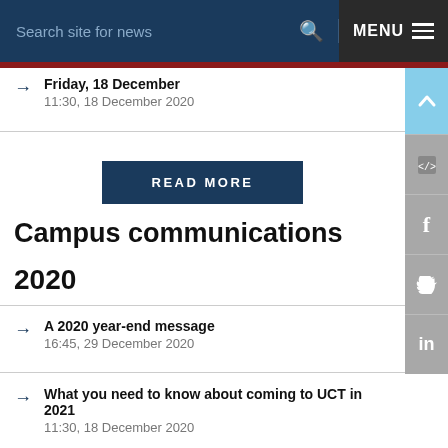Search site for news   🔍   MENU ☰
Friday, 18 December
11:30, 18 December 2020
READ MORE
Campus communications
2020
A 2020 year-end message
16:45, 29 December 2020
What you need to know about coming to UCT in 2021
11:30, 18 December 2020